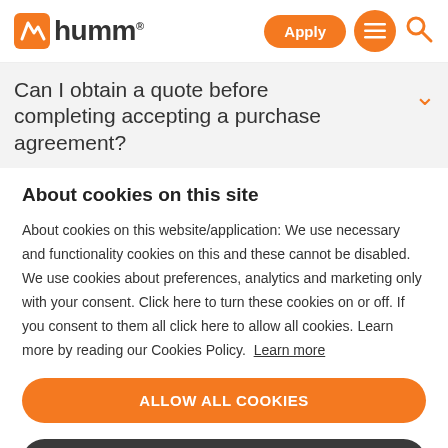humm — Apply, Menu, Search
Can I obtain a quote before completing accepting a purchase agreement?
About cookies on this site
About cookies on this website/application: We use necessary and functionality cookies on this and these cannot be disabled. We use cookies about preferences, analytics and marketing only with your consent. Click here to turn these cookies on or off. If you consent to them all click here to allow all cookies. Learn more by reading our Cookies Policy. Learn more
ALLOW ALL COOKIES
COOKIE SETTINGS